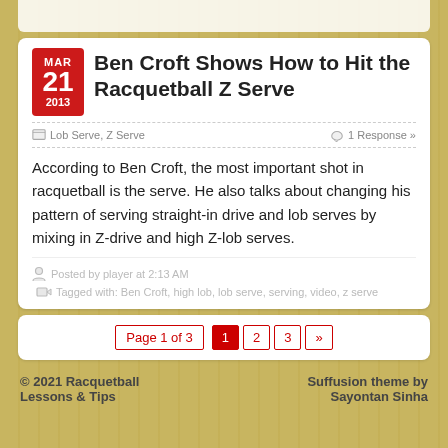Ben Croft Shows How to Hit the Racquetball Z Serve
According to Ben Croft, the most important shot in racquetball is the serve. He also talks about changing his pattern of serving straight-in drive and lob serves by mixing in Z-drive and high Z-lob serves.
Posted by player at 2:13 AM
Tagged with: Ben Croft, high lob, lob serve, serving, video, z serve
© 2021 Racquetball Lessons & Tips
Suffusion theme by Sayontan Sinha